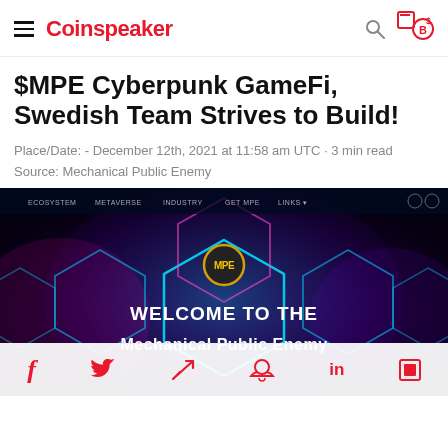Coinspeaker
$MPE Cyberpunk GameFi, Swedish Team Strives to Build!
Place/Date: - December 12th, 2021 at 11:58 am UTC · 3 min read
Source: Mechanical Public Enemy
[Figure (screenshot): Screenshot of the Mechanical Public Enemy website showing a dark cyberpunk interface with hexagonal neon patterns and text 'WELCOME TO THE Mechanical Public Enemy'. Navigation items include ECOSYSTEM, METAVERSE, INDUSTRY, GET MPE, LINKS.]
Social sharing bar with icons: Facebook, Twitter, Telegram, Reddit, LinkedIn, share